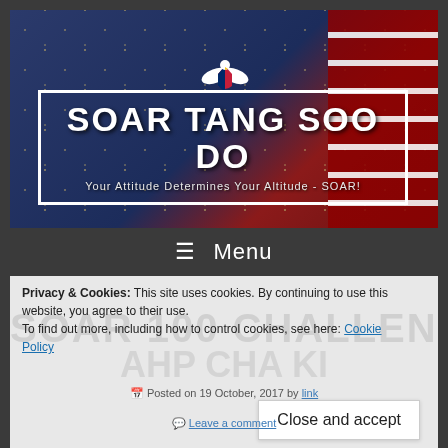[Figure (logo): Soar Tang Soo Do website banner with American flag background, eagle logo, white bordered box with title 'SOAR TANG SOO DO' and subtitle 'Your Attitude Determines Your Altitude - SOAR!']
☰  Menu
Privacy & Cookies: This site uses cookies. By continuing to use this website, you agree to their use.
To find out more, including how to control cookies, see here: Cookie Policy
SOAR 100 CHALLENGE
AHP CHA KI
Posted on 19 October, 2017 by [link]
Leave a comment